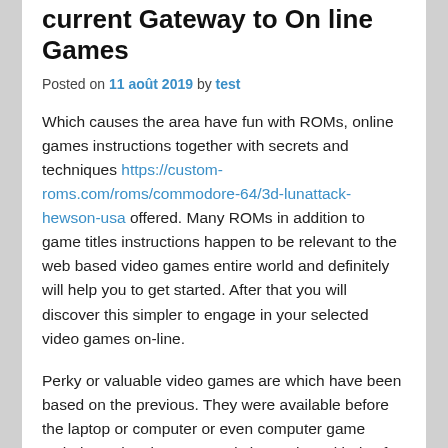current Gateway to On line Games
Posted on 11 août 2019 by test
Which causes the area have fun with ROMs, online games instructions together with secrets and techniques https://custom-roms.com/roms/commodore-64/3d-lunattack-hewson-usa offered. Many ROMs in addition to game titles instructions happen to be relevant to the web based video games entire world and definitely will help you to get started. After that you will discover this simpler to engage in your selected video games on-line.
Perky or valuable video games are which have been based on the previous. They were available before the laptop or computer or even computer game techniques has been around since. These kinds of online games are often very good as well as great for lots of people. The particular elderly games are extremely high-priced plus they are commonly less accessible as they should become. In this posting, I am going to speak about retro